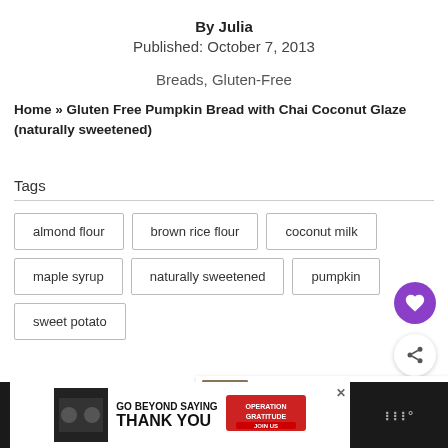By Julia
Published: October 7, 2013
Breads, Gluten-Free
Home » Gluten Free Pumpkin Bread with Chai Coconut Glaze (naturally sweetened)
Tags
almond flour
brown rice flour
coconut milk
maple syrup
naturally sweetened
pumpkin
sweet potato
[Figure (infographic): WHAT'S NEXT banner with thumbnail image and text: Eggnog Bread with Boozy...]
[Figure (infographic): GO BEYOND SAYING THANK YOU - Operation Gratitude advertisement banner]